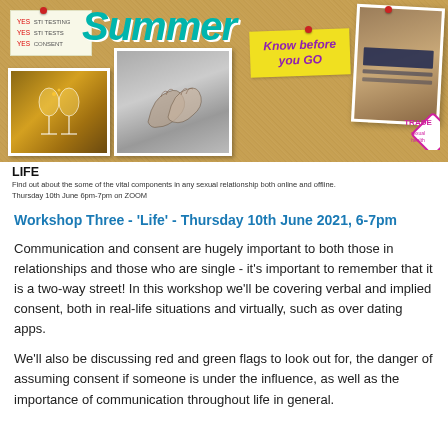[Figure (infographic): Summer 'Know before you GO' workshop banner on cork board background with photos and Trade logo]
LIFE
Find out about the some of the vital components in any sexual relationship both online and offline.
Thursday 10th June 6pm-7pm on ZOOM
Workshop Three - 'Life' - Thursday 10th June 2021, 6-7pm
Communication and consent are hugely important to both those in relationships and those who are single - it's important to remember that it is a two-way street! In this workshop we'll be covering verbal and implied consent, both in real-life situations and virtually, such as over dating apps.
We'll also be discussing red and green flags to look out for, the danger of assuming consent if someone is under the influence, as well as the importance of communication throughout life in general.